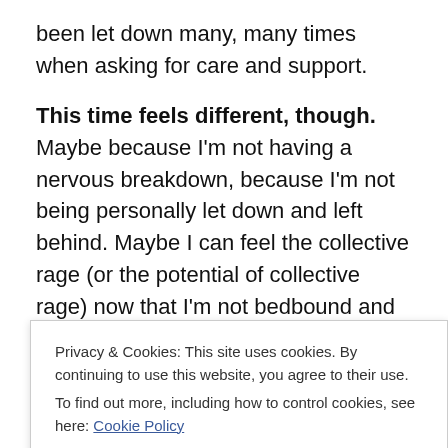been let down many, many times when asking for care and support.
This time feels different, though. Maybe because I'm not having a nervous breakdown, because I'm not being personally let down and left behind. Maybe I can feel the collective rage (or the potential of collective rage) now that I'm not bedbound and despairing – even if, for so many crip mad broke struggling working reasons, our bodies aren't (yet) visible in the streets.
A Come Abroad Plan is not to imply that we have no political...
Privacy & Cookies: This site uses cookies. By continuing to use this website, you agree to their use. To find out more, including how to control cookies, see here: Cookie Policy
for how we will take care of ourselves before said event